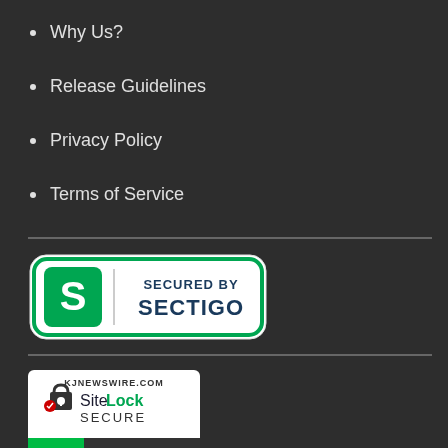Why Us?
Release Guidelines
Privacy Policy
Terms of Service
[Figure (logo): Sectigo SSL badge: green rounded rectangle with S logo and text 'SECURED BY SECTIGO']
[Figure (logo): SiteLock badge: white square with SiteLock logo, padlock icon, text 'SiteLock SECURE', green bar with 'Passed 29-Aug-2022', site name KJNEWSWIRE.COM]